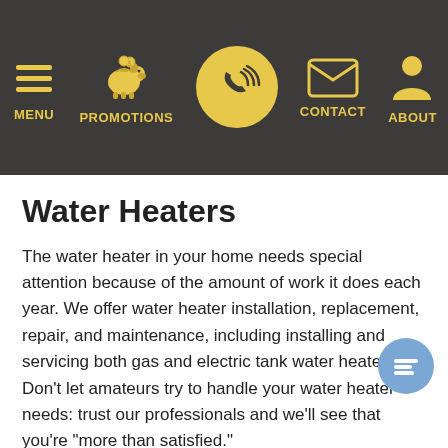[Figure (screenshot): Website navigation bar with dark background showing icons and labels: MENU (hamburger icon), PROMOTIONS (piggy bank icon), phone icon in gold circle (center), CONTACT (envelope icon), ABOUT (person icon). Icons are gold/yellow colored.]
Water Heaters
The water heater in your home needs special attention because of the amount of work it does each year. We offer water heater installation, replacement, repair, and maintenance, including installing and servicing both gas and electric tank water heaters. Don't let amateurs try to handle your water heater needs: trust our professionals and we'll see that you're "more than satisfied."
Air Conditioning Services